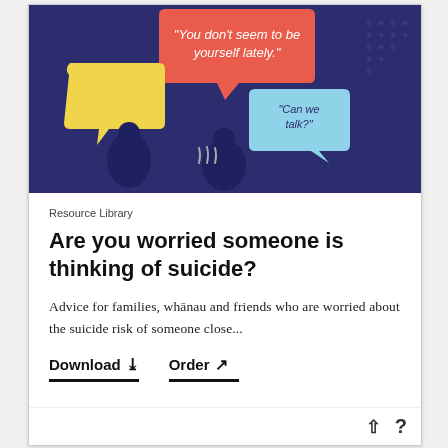[Figure (illustration): Dark navy blue background with colorful speech bubbles. A large red speech bubble at top center reads 'You don't seem to be yourself lately.' A yellow speech bubble on the left and a light blue speech bubble on the right reading 'Can we talk?' with two silhouetted figures below.]
Resource Library
Are you worried someone is thinking of suicide?
Advice for families, whānau and friends who are worried about the suicide risk of someone close...
Download  Order